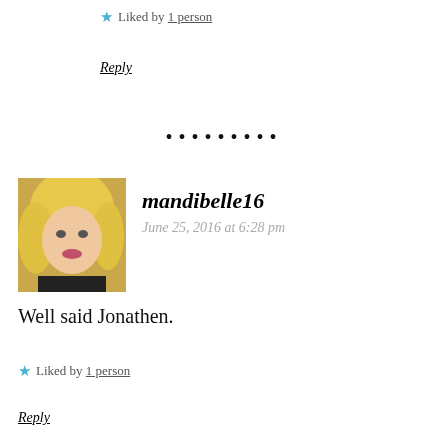★ Liked by 1 person
Reply
•••••••••
mandibelle16
June 25, 2016 at 6:28 pm
Well said Jonathen.
★ Liked by 1 person
Reply